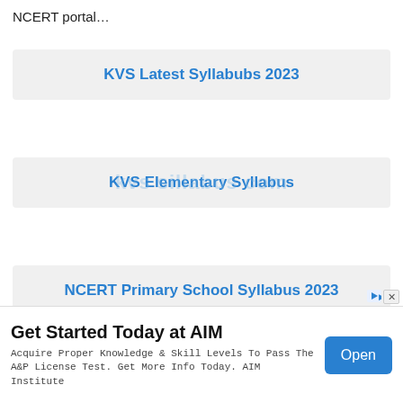NCERT portal…
KVS Latest Syllabubs 2023
KVS Elementary Syllabus
NCERT Primary School Syllabus 2023
×
Get Started Today at AIM
Acquire Proper Knowledge & Skill Levels To Pass The A&P License Test. Get More Info Today. AIM Institute
Open